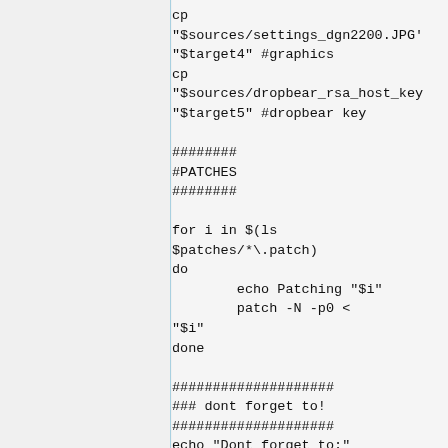cp
"$sources/settings_dgn2200.JPG'
"$target4" #graphics
cp
"$sources/dropbear_rsa_host_key
"$target5" #dropbear key

########
#PATCHES
########

for i in $(ls
$patches/*\.patch)
do
        echo Patching "$i"
        patch -N -p0 <
"$i"
done

####################
### dont forget to!
####################
echo "Dont forget to:"
echo "sudo -i"
echo  "cd $ROOT/DGND3700"